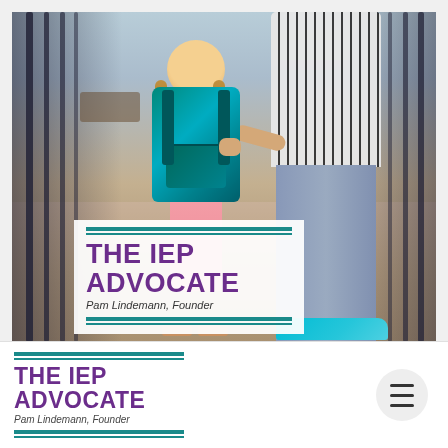[Figure (photo): A young girl with a teal backpack and pink leggings holds hands with an adult wearing a plaid shirt and jeans, walking away from the camera on a cobblestone path near an iron gate.]
THE IEP ADVOCATE
Pam Lindemann, Founder
THE IEP ADVOCATE
Pam Lindemann, Founder